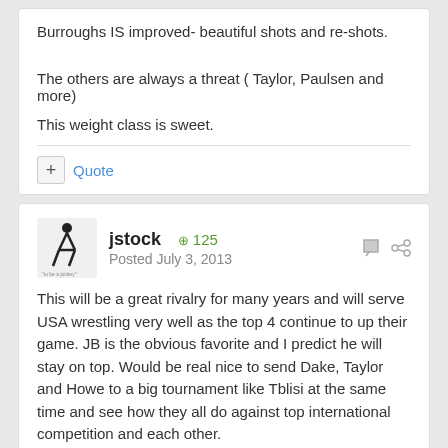Burroughs IS improved- beautiful shots and re-shots.
The others are always a threat ( Taylor, Paulsen and more)
This weight class is sweet.
jstock   + 125   Posted July 3, 2013
This will be a great rivalry for many years and will serve USA wrestling very well as the top 4 continue to up their game. JB is the obvious favorite and I predict he will stay on top. Would be real nice to send Dake, Taylor and Howe to a big tournament like Tblisi at the same time and see how they all do against top international competition and each other.
I believe Dake had a much better chance against JBurroughs under the old rules. The new rules with passivity really favor Jordan B, the officials